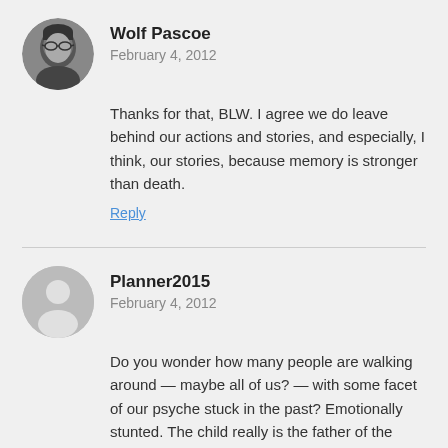[Figure (photo): Circular avatar photo of Wolf Pascoe, a person wearing sunglasses, black and white photo]
Wolf Pascoe
February 4, 2012
Thanks for that, BLW. I agree we do leave behind our actions and stories, and especially, I think, our stories, because memory is stronger than death.
Reply
[Figure (illustration): Circular generic user avatar placeholder, gray silhouette]
Planner2015
February 4, 2012
Do you wonder how many people are walking around — maybe all of us? — with some facet of our psyche stuck in the past? Emotionally stunted. The child really is the father of the man.
Those who are the most socially adept can cover it up. Others less so. But the truth keeps trying to be seen, even if only for fifteen seconds.
Reply